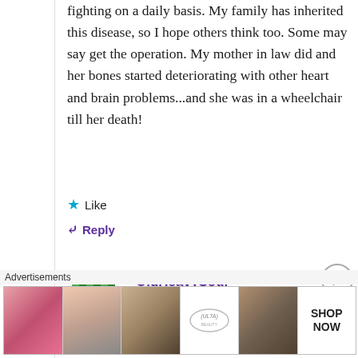fighting on a daily basis. My family has inherited this disease, so I hope others think too. Some may say get the operation. My mother in law did and her bones started deteriorating with other heart and brain problems...and she was in a wheelchair till her death!
Like
Reply
OldHeavySoul
October 28, 2019 at 9:40 pm
[Figure (photo): Green checkered avatar icon for user OldHeavySoul]
Advertisements
[Figure (photo): Ulta Beauty advertisement strip showing makeup images: red lips, makeup brush, eye with eyeshadow, Ulta logo, dramatic eye makeup, and SHOP NOW text]